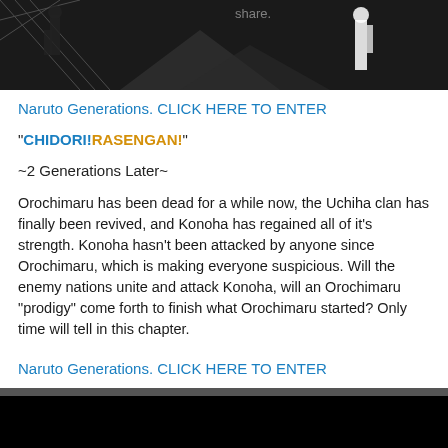[Figure (illustration): Dark banner image with anime-style characters (Naruto themed), black and white, with text partially visible reading 'share.']
Naruto Generations. CLICK HERE TO ENTER
"CHIDORI!RASENGAN!"
~2 Generations Later~
Orochimaru has been dead for a while now, the Uchiha clan has finally been revived, and Konoha has regained all of it's strength. Konoha hasn't been attacked by anyone since Orochimaru, which is making everyone suspicious. Will the enemy nations unite and attack Konoha, will an Orochimaru "prodigy" come forth to finish what Orochimaru started? Only time will tell in this chapter.
Naruto Generations. CLICK HERE TO ENTER
Affiliate Button